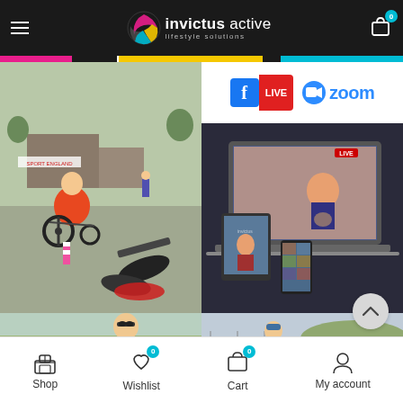invictus active — lifestyle solutions
[Figure (screenshot): Website screenshot of Invictus Active lifestyle solutions. Header with hamburger menu, logo, and cart icon with 0 badge. Color bar below header. Two-column image grid: left shows a woman in a wheelchair at a sports track (Sport England banner visible), right shows Facebook Live and Zoom logos above an online fitness class shown on laptop/tablet/phone screens. Bottom row shows two more outdoor photos. Bottom navigation bar with Shop, Wishlist (0), Cart (0), My account icons.]
Shop   Wishlist 0   Cart 0   My account